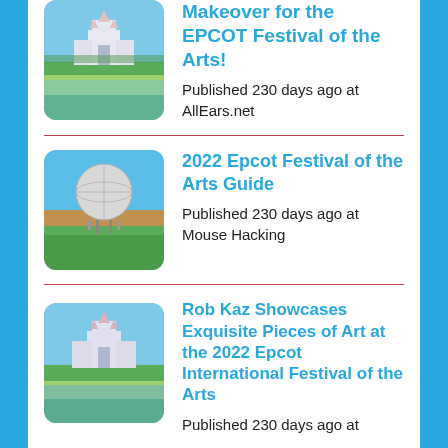Makeover for the EPCOT Festival of the Arts!
Published 230 days ago at AllEars.net
2022 Epcot Festival of the Arts Guide
Published 230 days ago at Mouse Hacking
Rob Kaz Showcases Exquisite Pieces of Art at the 2022 Epcot International Festival of the Arts
Published 230 days ago at